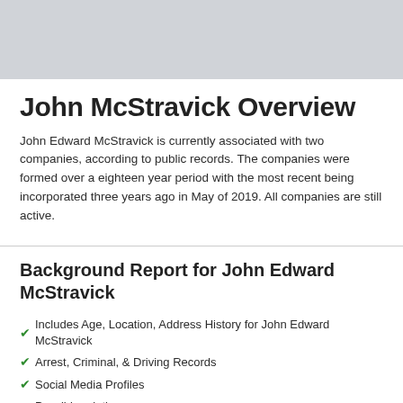[Figure (other): Gray banner area at top of page]
John McStravick Overview
John Edward McStravick is currently associated with two companies, according to public records. The companies were formed over a eighteen year period with the most recent being incorporated three years ago in May of 2019. All companies are still active.
Background Report for John Edward McStravick
Includes Age, Location, Address History for John Edward McStravick
Arrest, Criminal, & Driving Records
Social Media Profiles
Possible relatives
Full Background Report